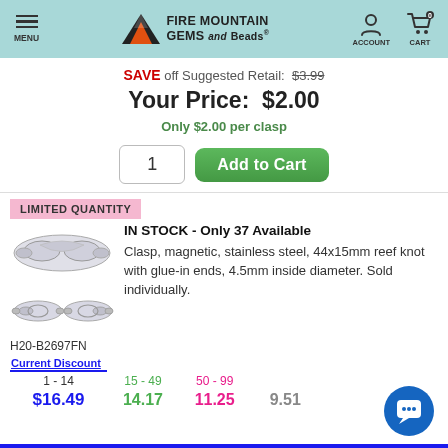[Figure (screenshot): Fire Mountain Gems and Beads website header with logo, account and cart icons]
SAVE off Suggested Retail: $3.99
Your Price: $2.00
Only $2.00 per clasp
[Figure (other): Add to Cart button with quantity input of 1]
LIMITED QUANTITY
IN STOCK - Only 37 Available
[Figure (photo): Stainless steel magnetic reef knot clasp shown in two views]
Clasp, magnetic, stainless steel, 44x15mm reef knot with glue-in ends, 4.5mm inside diameter. Sold individually.
H20-B2697FN
| Current Discount | 15 - 49 | 50 - 99 |  |
| --- | --- | --- | --- |
| 1 - 14 | 15 - 49 | 50 - 99 |  |
| $16.49 | 14.17 | 11.25 | 9.51 |